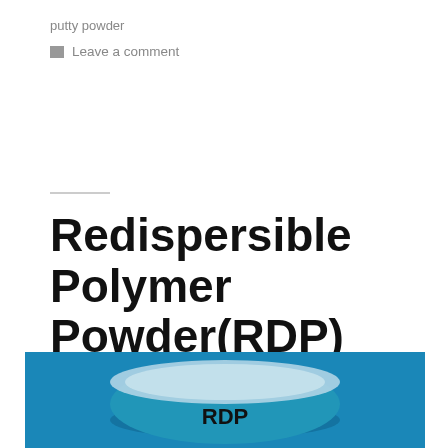putty powder
Leave a comment
Redispersible Polymer Powder(RDP)
[Figure (photo): Photo of a dish/bowl containing white RDP (Redispersible Polymer Powder) on a blue background, with the text 'RDP' printed on the front of the dish.]